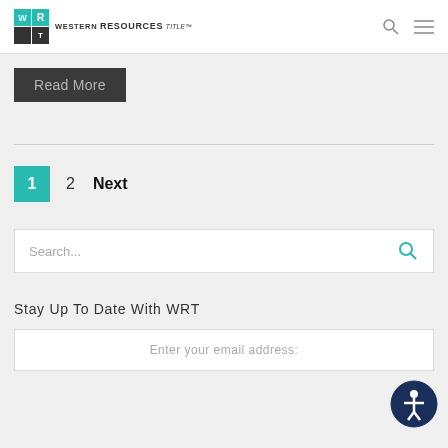Western Resources Title
Read More
1  2  Next
Search...
Stay Up To Date With WRT
Enter your email address: